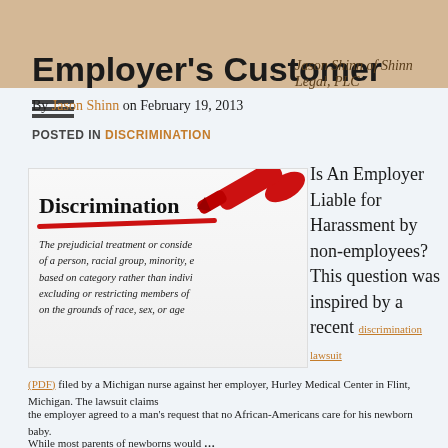Employer's Customer — Jason Shinn of Shinn Legal, PLC
By Jason Shinn on February 19, 2013
POSTED IN DISCRIMINATION
[Figure (photo): Photo of a red marker underlining the word 'Discrimination' in a dictionary, with the definition visible below.]
Is An Employer Liable for Harassment by non-employees? This question was inspired by a recent discrimination lawsuit (PDF) filed by a Michigan nurse against her employer, Hurley Medical Center in Flint, Michigan. The lawsuit claims the employer agreed to a man's request that no African-Americans care for his newborn baby. While most parents of newborns would …